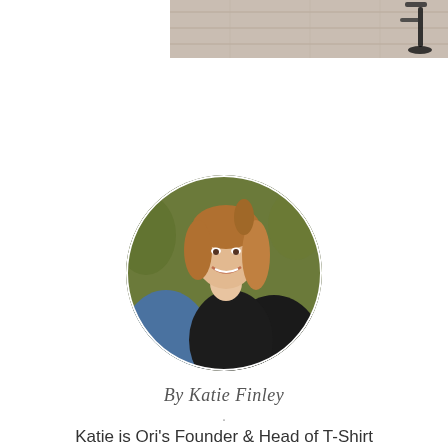[Figure (photo): Partial top image showing a wooden floor with a high-heeled sandal visible at the right side]
[Figure (photo): Circular portrait photo of a smiling young woman with long wavy auburn hair wearing a black jacket, outdoors with green foliage background]
By Katie Finley
·
Katie is Ori's Founder & Head of T-Shirt Operations. She lives in Los Angeles and is equal